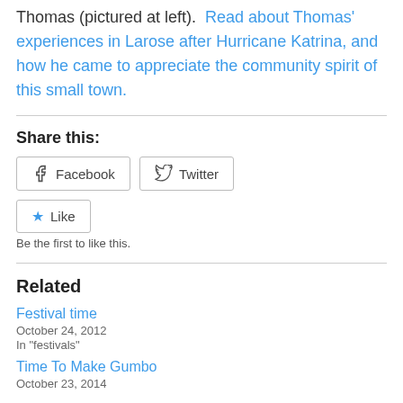Thomas (pictured at left).  Read about Thomas' experiences in Larose after Hurricane Katrina, and how he came to appreciate the community spirit of this small town.
Share this:
[Figure (other): Facebook and Twitter share buttons, and a Like button with 'Be the first to like this.' text]
Related
Festival time
October 24, 2012
In "festivals"
Time To Make Gumbo
October 23, 2014